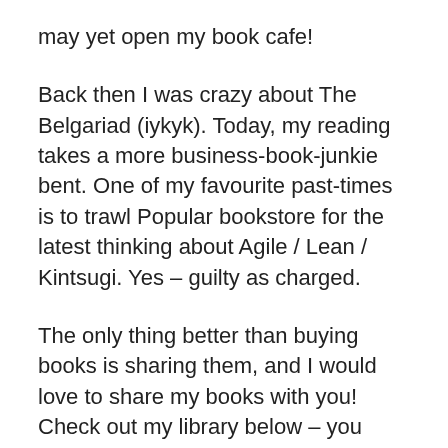may yet open my book cafe!
Back then I was crazy about The Belgariad (iykyk). Today, my reading takes a more business-book-junkie bent. One of my favourite past-times is to trawl Popular bookstore for the latest thinking about Agile / Lean / Kintsugi. Yes – guilty as charged.
The only thing better than buying books is sharing them, and I would love to share my books with you! Check out my library below – you could click on any of the covers to read more about the book on GoodReads. If you are staying in Singapore, I would be glad to trade books with you. It could be fun. Hit